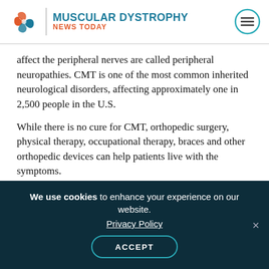MUSCULAR DYSTROPHY NEWS TODAY
affect the peripheral nerves are called peripheral neuropathies. CMT is one of the most common inherited neurological disorders, affecting approximately one in 2,500 people in the U.S.
While there is no cure for CMT, orthopedic surgery, physical therapy, occupational therapy, braces and other orthopedic devices can help patients live with the symptoms.
This grant is one of 29 new MDA grants totaling more than $7 million. It also is one of the 16 CMT grants that MDA is currently funding, totaling more
We use cookies to enhance your experience on our website. Privacy Policy ACCEPT